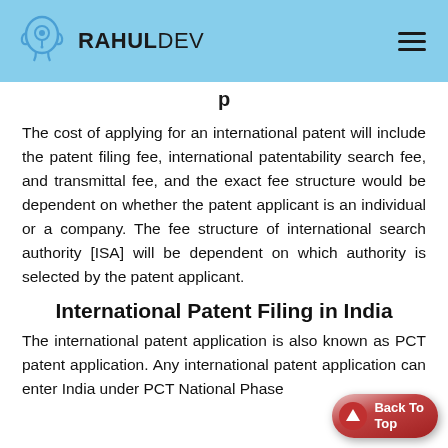RAHULDEV
p
The cost of applying for an international patent will include the patent filing fee, international patentability search fee, and transmittal fee, and the exact fee structure would be dependent on whether the patent applicant is an individual or a company. The fee structure of international search authority [ISA] will be dependent on which authority is selected by the patent applicant.
International Patent Filing in India
The international patent application is also known as PCT patent application. Any international patent application can enter India under PCT National Phase including in one of the Patent Cooperation